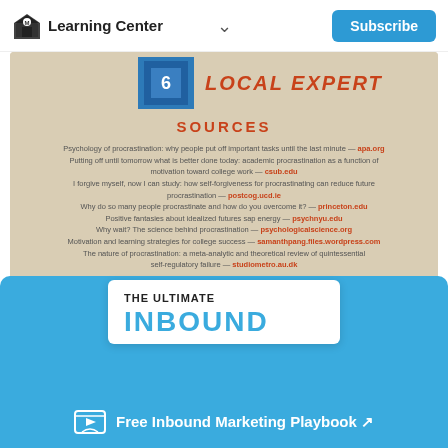Learning Center  Subscribe
[Figure (infographic): Infographic section with blue numbered box and 'LOCAL EXPERT' text on beige background]
SOURCES
Psychology of procrastination: why people put off important tasks until the last minute — apa.org
Putting off until tomorrow what is better done today: academic procrastination as a function of motivation toward college work — csub.edu
I forgive myself, now I can study: how self-forgiveness for procrastinating can reduce future procrastination — postcog.ucd.ie
Why do so many people procrastinate and how do you overcome it? — princeton.edu
Positive fantasies about idealized futures sap energy — psychnyu.edu
Why wait? The science behind procrastination — psychologicalscience.org
Motivation and learning strategies for college success — samanthpang.files.wordpress.com
The nature of procrastination: a meta-analytic and theoretical review of quintessential self-regulatory failure — studiemetro.au.dk
This image is licensed under the Creative Commons Attribution-Share Alike 4.0 International License - www.creativecommons.org/licenses/by-sa/4.0
[Figure (illustration): Book cover preview showing 'THE ULTIMATE INBOUND' text on white card over blue background]
Free Inbound Marketing Playbook ↗